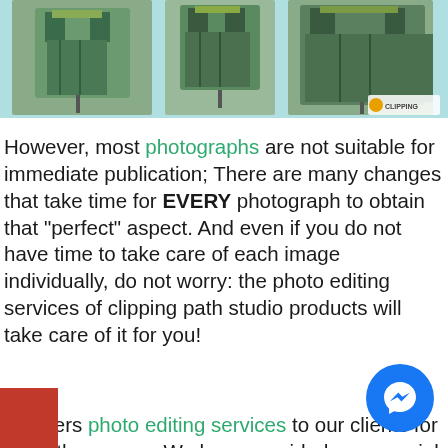[Figure (photo): Three garments on mannequins displayed against a light blue/teal background, with a clipping path service logo in bottom right corner]
However, most photographs are not suitable for immediate publication; There are many changes that take time for EVERY photograph to obtain that "perfect" aspect. And even if you do not have time to take care of each image individually, do not worry: the photo editing services of clipping path studio products will take care of it for you!
...ec offers photo editing services to our clients for more than years. We have provided commercial photo editing services for e variety of verticals, including, among others, jewelry, ing, furniture, automobiles, food, real estate, fashion and many others. Our product image editing team removes unattractive backgrounds, unwanted distractions, poor lighting, and color defects (among many others) from your original photos